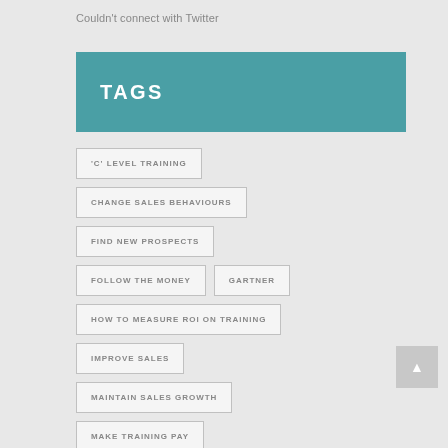Couldn't connect with Twitter
TAGS
'C' LEVEL TRAINING
CHANGE SALES BEHAVIOURS
FIND NEW PROSPECTS
FOLLOW THE MONEY
GARTNER
HOW TO MEASURE ROI ON TRAINING
IMPROVE SALES
MAINTAIN SALES GROWTH
MAKE TRAINING PAY
RETURN ON INVESTMENT
SALES